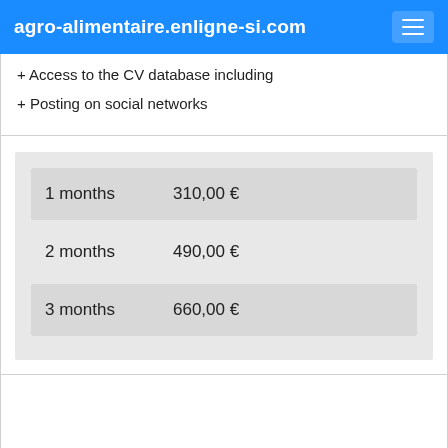agro-alimentaire.enligne-si.com
+ Access to the CV database including
+ Posting on social networks
| Duration | Price |
| --- | --- |
| 1 months | 310,00 € |
| 2 months | 490,00 € |
| 3 months | 660,00 € |
Posting of each offer on all relevant websites (1)